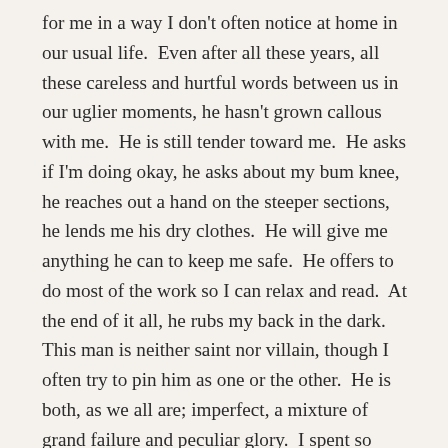for me in a way I don't often notice at home in our usual life. Even after all these years, all these careless and hurtful words between us in our uglier moments, he hasn't grown callous with me. He is still tender toward me. He asks if I'm doing okay, he asks about my bum knee, he reaches out a hand on the steeper sections, he lends me his dry clothes. He will give me anything he can to keep me safe. He offers to do most of the work so I can relax and read. At the end of it all, he rubs my back in the dark. This man is neither saint nor villain, though I often try to pin him as one or the other. He is both, as we all are; imperfect, a mixture of grand failure and peculiar glory. I spent so much time in our early years “looking for the music in the music box, tearing it to pieces, trying to find a song” instead of opening my hands to receive this mystery of a man, giving thanks for what is and isn't there as unto a good God who knows best. Finally I'm seeing that that's where the